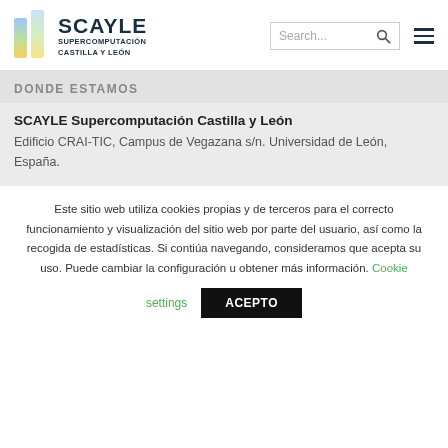SCAYLE SUPERCOMPUTACIÓN CASTILLA Y LEÓN
DONDE ESTAMOS
SCAYLE Supercomputación Castilla y León
Edificio CRAI-TIC, Campus de Vegazana s/n. Universidad de León, España.
Este sitio web utiliza cookies propias y de terceros para el correcto funcionamiento y visualización del sitio web por parte del usuario, así como la recogida de estadísticas. Si contiúa navegando, consideramos que acepta su uso. Puede cambiar la configuración u obtener más información. Cookie settings ACEPTO